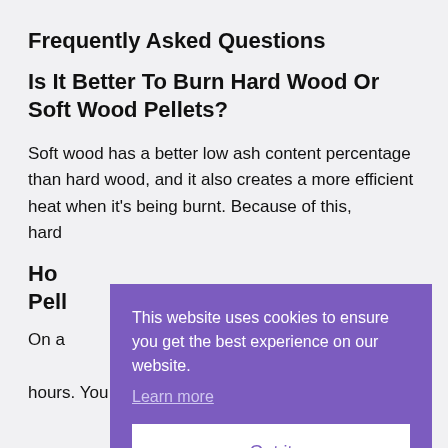Frequently Asked Questions
Is It Better To Burn Hard Wood Or Soft Wood Pellets?
Soft wood has a better low ash content percentage than hard wood, and it also creates a more efficient heat when it’s being burnt. Because of this, hard
How Pell
On a hours. You will need more for the winter and less
[Figure (screenshot): Cookie consent banner overlay with purple background. Text reads: 'This website uses cookies to ensure you get the best experience on our website.' with a 'Learn more' underlined link and a 'Got it' button on white background.]